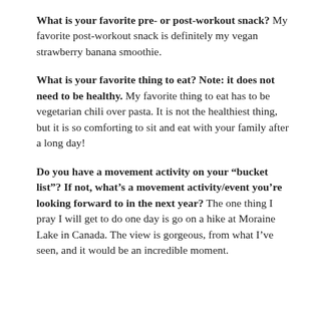What is your favorite pre- or post-workout snack? My favorite post-workout snack is definitely my vegan strawberry banana smoothie.
What is your favorite thing to eat? Note: it does not need to be healthy. My favorite thing to eat has to be vegetarian chili over pasta. It is not the healthiest thing, but it is so comforting to sit and eat with your family after a long day!
Do you have a movement activity on your “bucket list”? If not, what’s a movement activity/event you’re looking forward to in the next year? The one thing I pray I will get to do one day is go on a hike at Moraine Lake in Canada. The view is gorgeous, from what I’ve seen, and it would be an incredible moment.